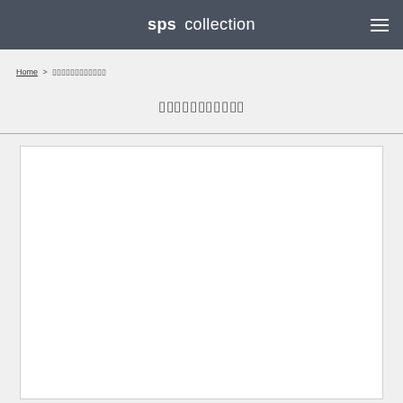sps collection
Home >
[Figure (other): Empty white content box with border]